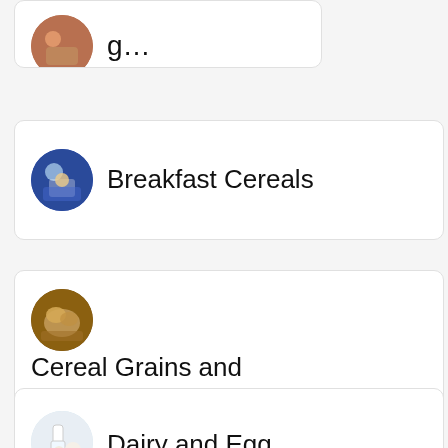(partial card - cropped at top)
Breakfast Cereals
Cereal Grains and Pasta
Dairy and Egg Products